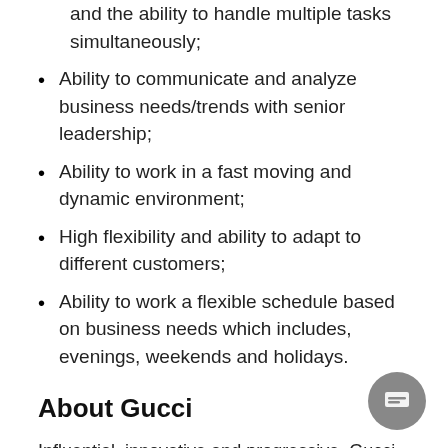Excellent communicate skills, both oral and written, and the ability to handle multiple tasks simultaneously;
Ability to communicate and analyze business needs/trends with senior leadership;
Ability to work in a fast moving and dynamic environment;
High flexibility and ability to adapt to different customers;
Ability to work a flexible schedule based on business needs which includes, evenings, weekends and holidays.
About Gucci
Influential, innovative and progressive, Gucci is reinventing a wholly modern approach to fashion. Under the new vision of creative director Alessandro Michele, the House has redefined luxury for the 21st century, furthe...